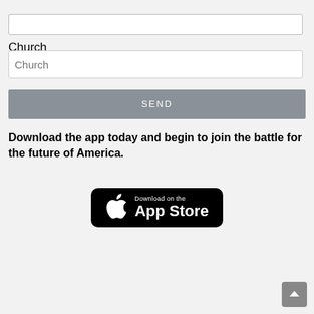Church
[Figure (screenshot): Church text input field (form element)]
[Figure (screenshot): SEND button (dark gray)]
Download the app today and begin to join the battle for the future of America.
[Figure (logo): Download on the App Store button (black badge with Apple logo)]